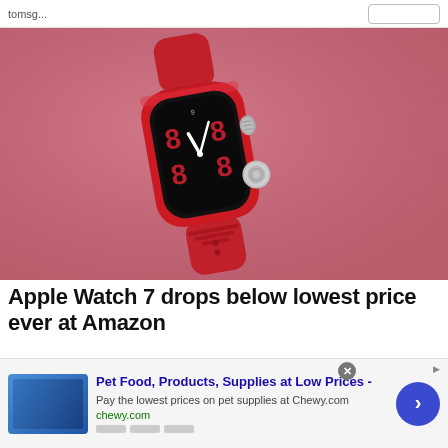[Figure (photo): Red Apple Watch Series 7 with red sport band on a pink/rose background, showing a clock face with white hands on a black display]
Apple Watch 7 drops below lowest price ever at Amazon
The 45mm variant of the Apple Watch Series 7 has dropped to its lowest price ever, beating the previous Amazon Pri
[Figure (other): Advertisement banner for Chewy.com - Pet Food, Products, Supplies at Low Prices. Pay the lowest prices on pet supplies at Chewy.com. URL: chewy.com]